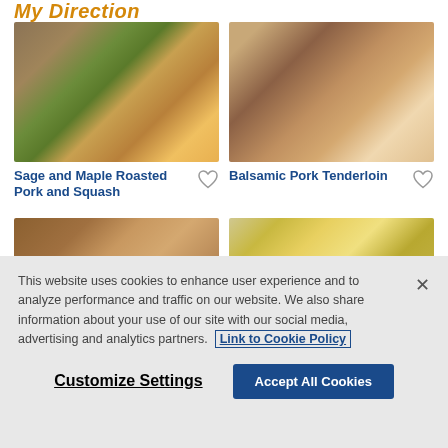My Direction
[Figure (photo): Sage and Maple Roasted Pork and Squash dish on a white plate with broccoli and squash]
Sage and Maple Roasted Pork and Squash
[Figure (photo): Balsamic Pork Tenderloin sliced on a board with herbs]
Balsamic Pork Tenderloin
[Figure (photo): Partial view of a recipe image on the bottom left]
[Figure (photo): Partial view of a recipe image on the bottom right with lemon and grilled items]
This website uses cookies to enhance user experience and to analyze performance and traffic on our website. We also share information about your use of our site with our social media, advertising and analytics partners. Link to Cookie Policy
Customize Settings
Accept All Cookies